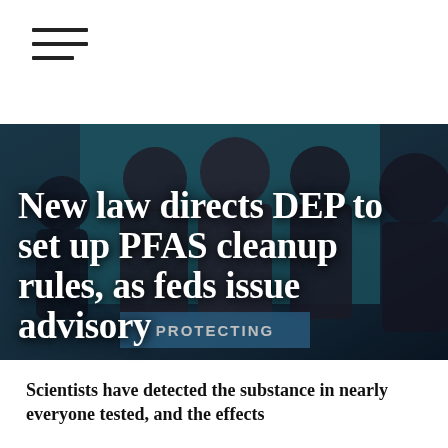[Figure (photo): Group of people at a press conference or public event, standing in front of a teal/blue background. Several officials visible. A sign partially visible in the lower center reading 'PROTECTING' something.]
New law directs DEP to set up PFAS cleanup rules, as feds issue advisory
Scientists have detected the substance in nearly everyone tested, and the effects